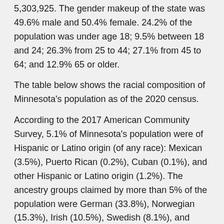5,303,925. The gender makeup of the state was 49.6% male and 50.4% female. 24.2% of the population was under age 18; 9.5% between 18 and 24; 26.3% from 25 to 44; 27.1% from 45 to 64; and 12.9% 65 or older.
The table below shows the racial composition of Minnesota's population as of the 2020 census.
According to the 2017 American Community Survey, 5.1% of Minnesota's population were of Hispanic or Latino origin (of any race): Mexican (3.5%), Puerto Rican (0.2%), Cuban (0.1%), and other Hispanic or Latino origin (1.2%). The ancestry groups claimed by more than 5% of the population were German (33.8%), Norwegian (15.3%), Irish (10.5%), Swedish (8.1%), and English (5.4%).
In 2011 non-Hispanic whites accounted for 72.3% of all births, but Minnesota's growing minority groups still